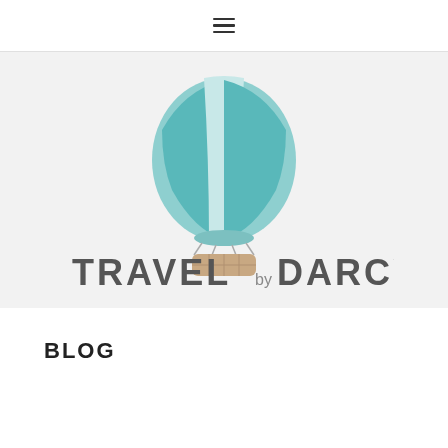Navigation menu (hamburger icon)
[Figure (logo): Travel by Darcy logo: a teal/turquoise hot air balloon above text reading TRAVEL by DARCY in gray uppercase letters, set on a light gray background]
BLOG